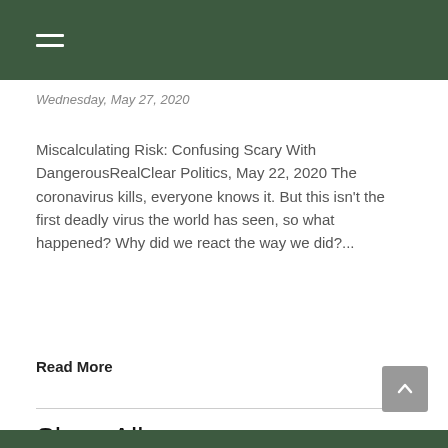Wednesday, May 27, 2020
Miscalculating Risk: Confusing Scary With DangerousRealClear Politics, May 22, 2020 The coronavirus kills, everyone knows it. But this isn't the first deadly virus the world has seen, so what happened? Why did we react the way we did?...
Read More
Show All